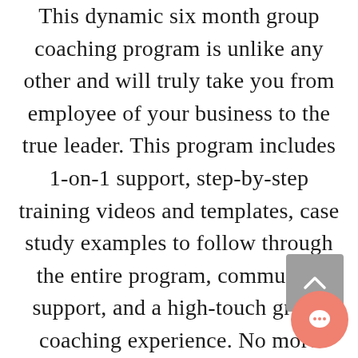This dynamic six month group coaching program is unlike any other and will truly take you from employee of your business to the true leader. This program includes 1-on-1 support, step-by-step training videos and templates, case study examples to follow through the entire program, community support, and a high-touch group coaching experience. No more teaching you how to make money online- it's time to learn how to actually company! Using our signature